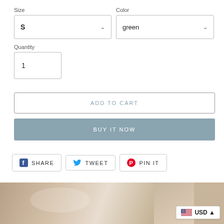Size
S
Color
green
Quantity
1
ADD TO CART
BUY IT NOW
SHARE
TWEET
PIN IT
[Figure (photo): Bottom portion of a smiling blonde woman wearing a necklace, with partial view of another person on the right side]
USD